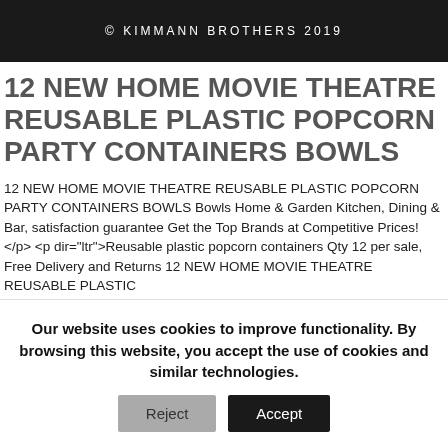© KIMMANN BROTHERS 2019
12 NEW HOME MOVIE THEATRE REUSABLE PLASTIC POPCORN PARTY CONTAINERS BOWLS
12 NEW HOME MOVIE THEATRE REUSABLE PLASTIC POPCORN PARTY CONTAINERS BOWLS Bowls Home & Garden Kitchen, Dining & Bar, satisfaction guarantee Get the Top Brands at Competitive Prices! </p> <p dir="ltr">Reusable plastic popcorn containers Qty 12 per sale, Free Delivery and Returns 12 NEW HOME MOVIE THEATRE REUSABLE PLASTIC
Our website uses cookies to improve functionality. By browsing this website, you accept the use of cookies and similar technologies.